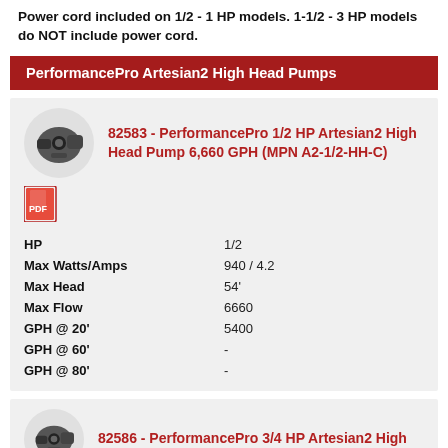Power cord included on 1/2 - 1 HP models. 1-1/2 - 3 HP models do NOT include power cord.
PerformancePro Artesian2 High Head Pumps
82583 - PerformancePro 1/2 HP Artesian2 High Head Pump 6,660 GPH (MPN A2-1/2-HH-C)
[Figure (illustration): PDF icon]
| Specification | Value |
| --- | --- |
| HP | 1/2 |
| Max Watts/Amps | 940 / 4.2 |
| Max Head | 54' |
| Max Flow | 6660 |
| GPH @ 20' | 5400 |
| GPH @ 60' | - |
| GPH @ 80' | - |
82586 - PerformancePro 3/4 HP Artesian2 High